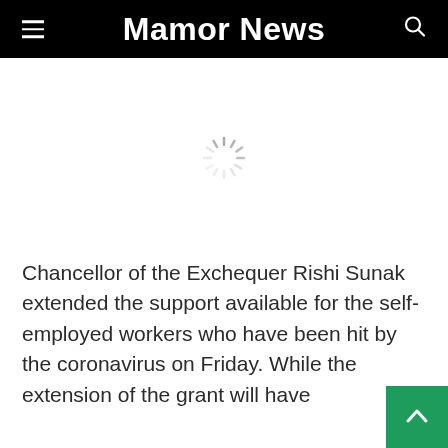Mamor News
[Figure (other): Loading spinner (circular dashed ring) shown in the image area while content loads]
Chancellor of the Exchequer Rishi Sunak extended the support available for the self-employed workers who have been hit by the coronavirus on Friday. While the extension of the grant will have